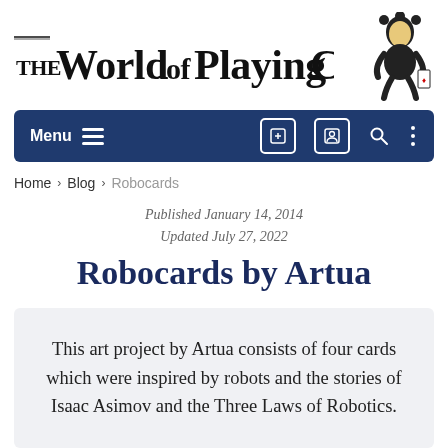The World of Playing Cards
[Figure (logo): Joker/jester figure illustration used as logo mascot for The World of Playing Cards]
[Figure (screenshot): Navigation bar with Menu (hamburger icon), and icons for add, profile, search, and more options on dark blue background]
Home › Blog › Robocards
Published January 14, 2014
Updated July 27, 2022
Robocards by Artua
This art project by Artua consists of four cards which were inspired by robots and the stories of Isaac Asimov and the Three Laws of Robotics.